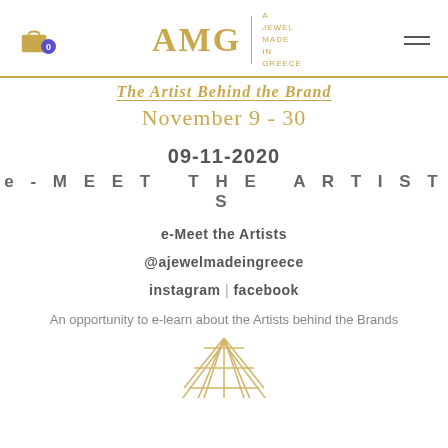AMG | A JEWEL MADE IN GREECE
The Artist Behind the Brand
November 9 - 30
09-11-2020
e - M E E T  T H E  A R T I S T S
e-Meet the Artists
@ajewelmadeingreece
instagram | facebook
An opportunity to e-learn about the Artists behind the Brands
[Figure (illustration): Partial view of a golden/amber colored abstract figure or artwork at the bottom of the page]